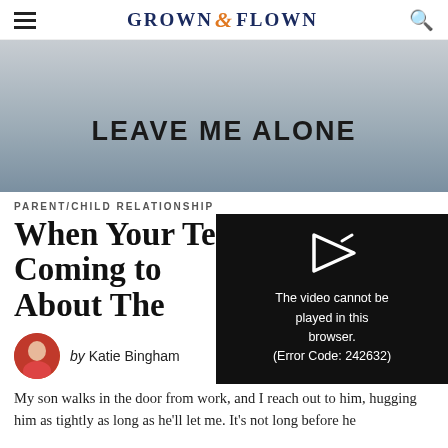GROWN & FLOWN
[Figure (photo): Person wearing a gray hoodie with 'LEAVE ME ALONE' printed on the back]
PARENT/CHILD RELATIONSHIP
When Your Teen Stops Coming to You About The...
by Katie Bingham
[Figure (screenshot): Video player error overlay showing play arrow icon and message: The video cannot be played in this browser. (Error Code: 242632)]
My son walks in the door from work, and I reach out to him, hugging him as tightly as long as he'll let me. It's not long before he...